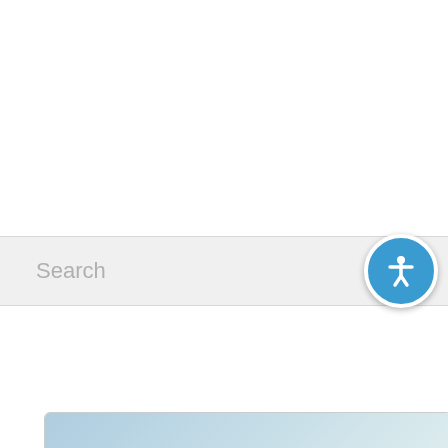[Figure (screenshot): Search bar with placeholder text 'Search' and blue accessibility icon button on the right]
[Figure (infographic): Promotional card with light blue gradient background showing 'Claim Your Guide to Elder Law & Estate Planning' text and a book/document image with an arch backdrop at the bottom]